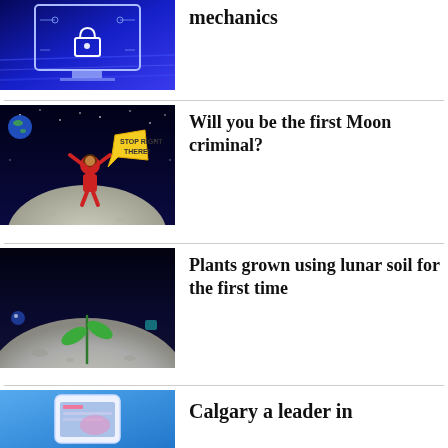[Figure (illustration): Computer screen with cybersecurity/lock icon on blue digital background]
mechanics
[Figure (illustration): Cartoon astronaut on the moon with 'STOP RIGHT THERE!' speech bubble, Earth in background, starry sky]
Will you be the first Moon criminal?
[Figure (illustration): Small green plant sprouting on the moon surface against dark space background]
Plants grown using lunar soil for the first time
[Figure (illustration): Partial image visible at bottom - appears to be a phone/app related image]
Calgary a leader in